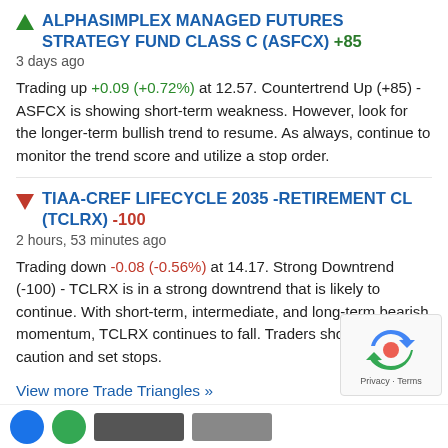ALPHASIMPLEX MANAGED FUTURES STRATEGY FUND CLASS C (ASFCX) +85
3 days ago
Trading up +0.09 (+0.72%) at 12.57. Countertrend Up (+85) - ASFCX is showing short-term weakness. However, look for the longer-term bullish trend to resume. As always, continue to monitor the trend score and utilize a stop order.
TIAA-CREF LIFECYCLE 2035 -RETIREMENT CL (TCLRX) -100
2 hours, 53 minutes ago
Trading down -0.08 (-0.56%) at 14.17. Strong Downtrend (-100) - TCLRX is in a strong downtrend that is likely to continue. With short-term, intermediate, and long-term bearish momentum, TCLRX continues to fall. Traders should use caution and set stops.
View more Trade Triangles »